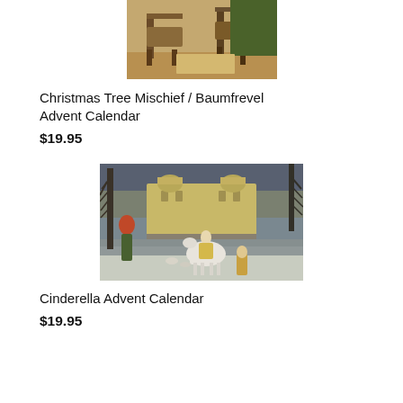[Figure (illustration): Partial view of a Christmas Tree Mischief / Baumfrevel Advent Calendar illustration showing chairs and figures in a room scene]
Christmas Tree Mischief / Baumfrevel Advent Calendar
$19.95
[Figure (illustration): Cinderella Advent Calendar illustration showing a winter scene with a castle, frozen lake, bare trees, a woman on a white horse, and figures in period costumes]
Cinderella Advent Calendar
$19.95